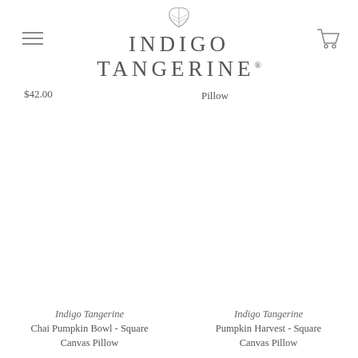Indigo Tangerine
$42.00
Pillow
$42.00
Indigo Tangerine
Chai Pumpkin Bowl - Square Canvas Pillow
Indigo Tangerine
Pumpkin Harvest - Square Canvas Pillow